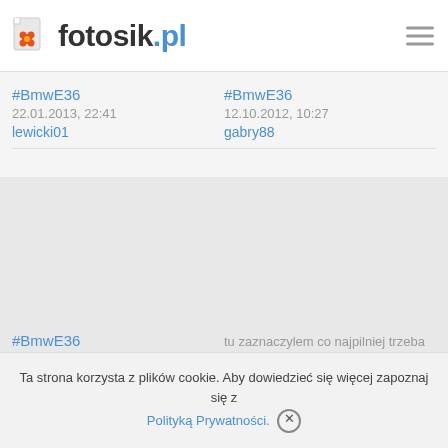fotosik.pl
#BmwE36
22.01.2013, 22:41
lewicki01
#BmwE36
12.10.2012, 10:27
gabry88
#BmwE36
gabry88
tu zaznaczylem co najpilniej trzeba
Ta strona korzysta z plików cookie. Aby dowiedzieć się więcej zapoznaj się z Polityką Prywatności.